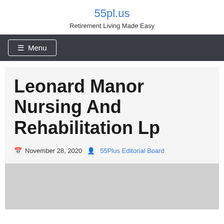55pl.us
Retirement Living Made Easy
☰ Menu
Leonard Manor Nursing And Rehabilitation Lp
November 28, 2020  55Plus Editorial Board